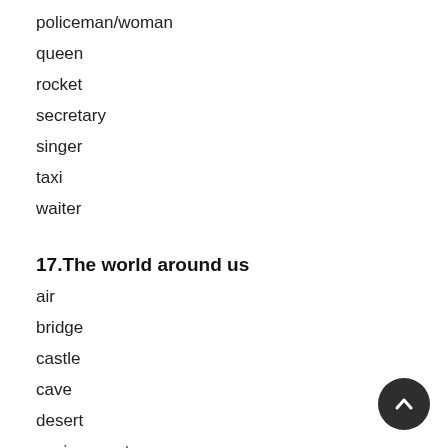policeman/woman
queen
rocket
secretary
singer
taxi
waiter
17.The world around us
air
bridge
castle
cave
desert
environment
fire
future